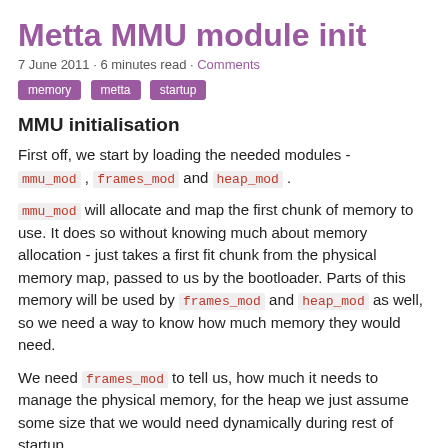Metta MMU module init
7 June 2011 · 6 minutes read · Comments
memory
metta
startup
MMU initialisation
First off, we start by loading the needed modules - mmu_mod , frames_mod and heap_mod .
mmu_mod will allocate and map the first chunk of memory to use. It does so without knowing much about memory allocation - just takes a first fit chunk from the physical memory map, passed to us by the bootloader. Parts of this memory will be used by frames_mod and heap_mod as well, so we need a way to know how much memory they would need.
We need frames_mod to tell us, how much it needs to manage the physical memory, for the heap we just assume some size that we would need dynamically during rest of startup.
int required = frames_mod->required_size();